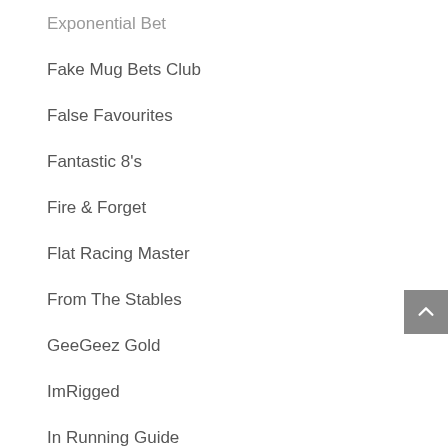Exponential Bet
Fake Mug Bets Club
False Favourites
Fantastic 8's
Fire & Forget
Flat Racing Master
From The Stables
GeeGeez Gold
ImRigged
In Running Guide
Inform Racing
ITV Racing Tips
JT's Racing
LayPro88